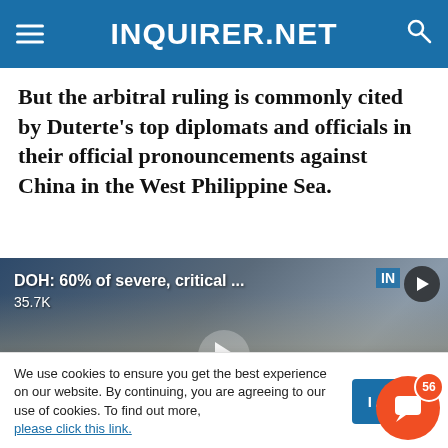INQUIRER.NET
But the arbitral ruling is commonly cited by Duterte’s top diplomats and officials in their official pronouncements against China in the West Philippine Sea.
[Figure (screenshot): Video thumbnail showing gloved hands, titled 'DOH: 60% of severe, critical ...' with 35.7K views, Inquirer.net branding, and a play button overlay.]
We use cookies to ensure you get the best experience on our website. By continuing, you are agreeing to our use of cookies. To find out more, please click this link.